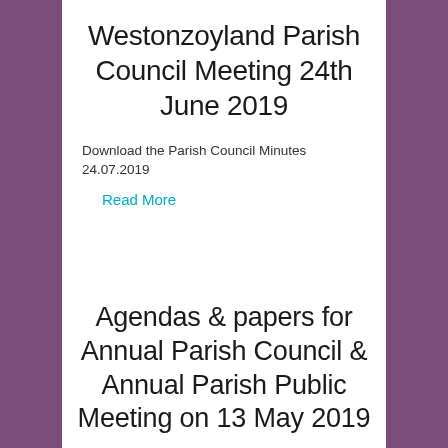Westonzoyland Parish Council Meeting 24th June 2019
Download the Parish Council Minutes
24.07.2019
Read More
Agendas & papers for Annual Parish Council & Annual Parish Public Meeting on 13 May 2019